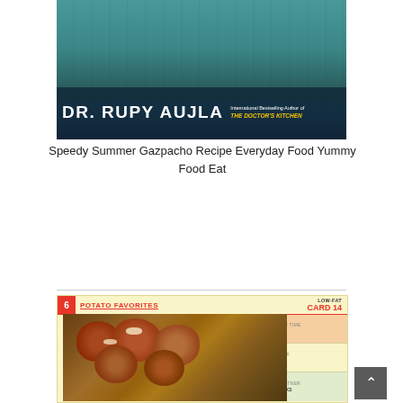[Figure (photo): Book cover for Dr. Rupy Aujla, International Bestselling Author of The Doctor's Kitchen. Person holding a bowl of food against a teal/turquoise wooden background.]
Speedy Summer Gazpacho Recipe Everyday Food Yummy Food Eat
[Figure (photo): Recipe card for Low-Fat Card 14 from section 6 Potato Favorites. Dish name: Parslied Potatoes. Preparation time: 15 minutes. Cooking time: 15 minutes. Perfect partner: rib eye steaks. Photo of parslied potatoes in a baking dish.]